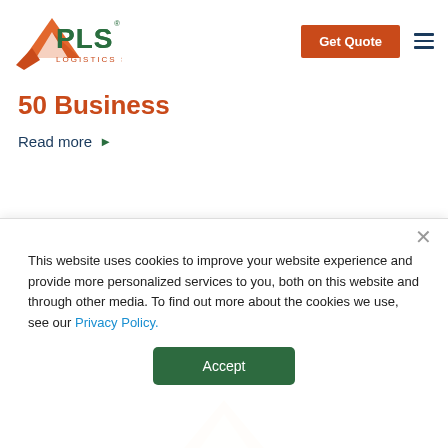[Figure (logo): PLS Logistics Services logo with orange arrow/chevron icon on the left and green bold PLS text with smaller orange 'Logistics Services' text below]
[Figure (other): Orange 'Get Quote' button and dark blue hamburger menu icon in the top right corner]
50 Business
Read more ▶
[Figure (logo): Partial PLS orange arrow/chevron logo visible at the bottom of the page, partially cropped]
This website uses cookies to improve your website experience and provide more personalized services to you, both on this website and through other media. To find out more about the cookies we use, see our Privacy Policy.
[Figure (other): Accept button — dark green rounded rectangle with white 'Accept' text]